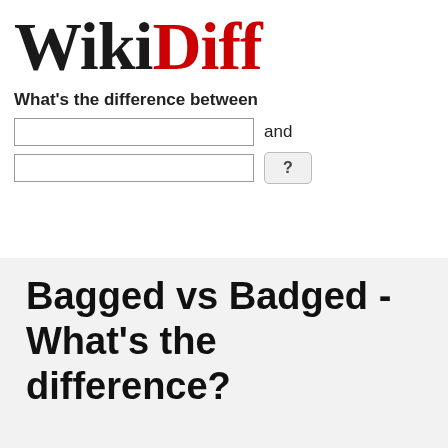[Figure (logo): WikiDiff logo with 'Wiki' in black bold serif and 'Diff' in red bold serif]
What's the difference between
Bagged vs Badged - What's the difference?